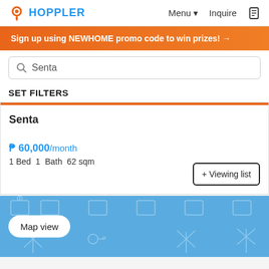HOPPLER | Menu | Inquire
Sign up using NEWHOME promo code to win prizes! →
Senta (search box)
SET FILTERS
Senta
₱ 60,000/month
1 Bed  1  Bath  62 sqm
+ Viewing list
[Figure (screenshot): Map view area with blue background showing property icons and a Map view button]